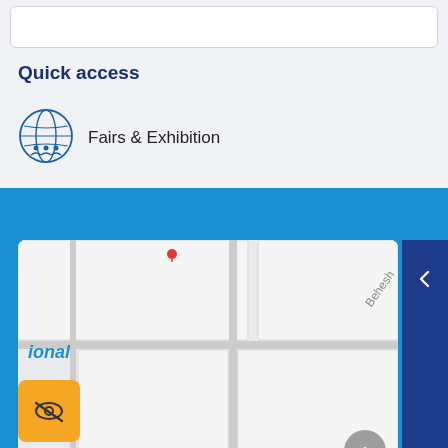Quick access
[Figure (illustration): Globe icon with grid lines inside a circle, used as a quick access icon for Fairs & Exhibition]
Fairs & Exhibition
[Figure (map): Street map showing location of Trade Promotion office near Beheshti street, with an eye/visibility toggle button, a back navigation chevron, and a scroll-to-top button]